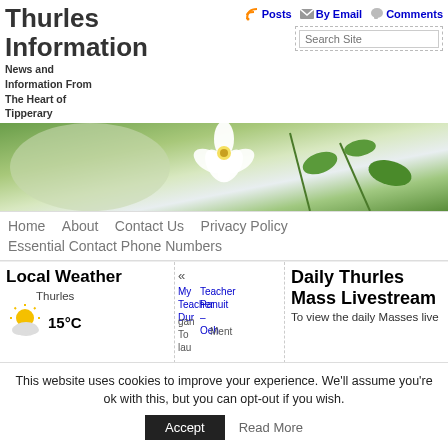Thurles Information
News and Information From The Heart of Tipperary
Posts  By Email  Comments
[Figure (screenshot): Search Site input box with dashed border]
[Figure (photo): Hero banner image of white flower on green foliage background]
Home  About  Contact Us  Privacy Policy  Essential Contact Phone Numbers
Local Weather
Thurles
15°C
[Figure (illustration): Sun and cloud weather icon]
«  MyTeacher Thurles DurganuitMent To – lauOeh
Daily Thurles Mass Livestream
To view the daily Masses live
This website uses cookies to improve your experience. We'll assume you're ok with this, but you can opt-out if you wish.
Accept
Read More